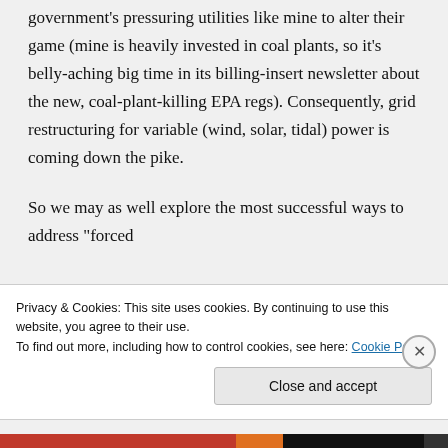government's pressuring utilities like mine to alter their game (mine is heavily invested in coal plants, so it's belly-aching big time in its billing-insert newsletter about the new, coal-plant-killing EPA regs). Consequently, grid restructuring for variable (wind, solar, tidal) power is coming down the pike.
So we may as well explore the most successful ways to address "forced
Privacy & Cookies: This site uses cookies. By continuing to use this website, you agree to their use.
To find out more, including how to control cookies, see here: Cookie Policy